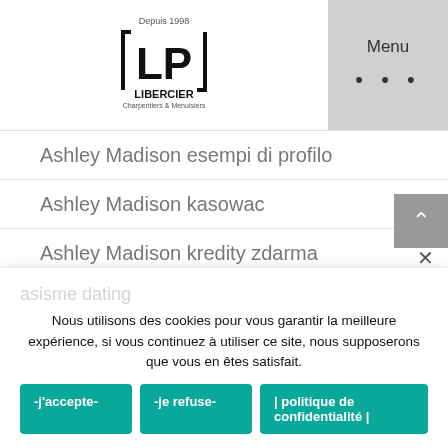LP Libercier - Menu
Ashley Madison esempi di profilo
Ashley Madison kasowac
Ashley Madison kredity zdarma
Ashley Madison profielen
Ashley Madison prova gratuita
ashley madison review
Ashley Madison reviews
Ashley Madison visitors
ashley-madison reviews (faded)
asisme dating (faded)
Nous utilisons des cookies pour vous garantir la meilleure expérience, si vous continuez à utiliser ce site, nous supposerons que vous en êtes satisfait.
-j'accepte-
-je refuse-
| politique de confidentialité |